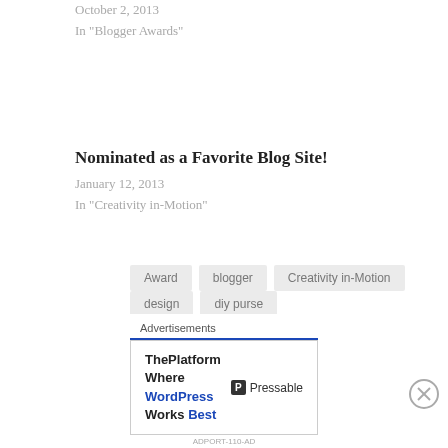October 2, 2013
In "Blogger Awards"
Nominated as a Favorite Blog Site!
January 12, 2013
In "Creativity in-Motion"
Award
blogger
Creativity in-Motion
design
diy purse
FAQs Help and Tutorials
Textile
Tutorials
upcyle
Versatile Blogger
WordPress
Advertisements
ThePlatform Where WordPress Works Best — Pressable